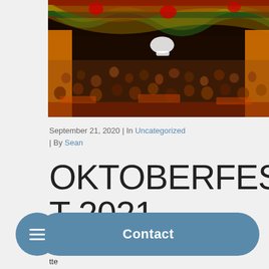[Figure (photo): Interior of an Oktoberfest beer tent crowded with people, decorated with colorful red, yellow, green striped fabric overhead and festive decorations. A carousel horse hangs in the center.]
September 21, 2020 | In Uncategorized | By Sean
OKTOBERFEST 2021
Reser... tte... Germany AND the CANNOMI TEN